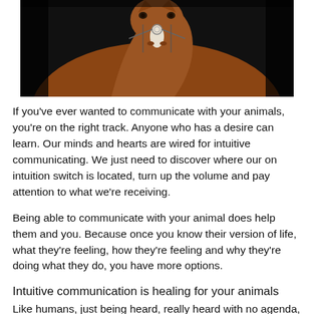[Figure (photo): Close-up photo of a chestnut horse facing the camera against a dark/black background, with bridle visible]
If you've ever wanted to communicate with your animals, you're on the right track. Anyone who has a desire can learn. Our minds and hearts are wired for intuitive communicating. We just need to discover where our on intuition switch is located, turn up the volume and pay attention to what we're receiving.
Being able to communicate with your animal does help them and you. Because once you know their version of life, what they're feeling, how they're feeling and why they're doing what they do, you have more options.
Intuitive communication is healing for your animals
Like humans, just being heard, really heard with no agenda, is healing for animals. In addition to being fully